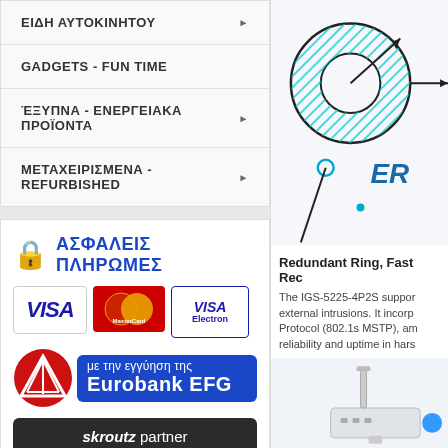ΕΙΔΗ ΑΥΤΟΚΙΝΗΤΟΥ ▶
GADGETS - FUN TIME
ΈΞΥΠΝΑ - ΕΝΕΡΓΕΙΑΚΑ ΠΡΟΪΟΝΤΑ ▶
ΜΕΤΑΧΕΙΡΙΣΜΕΝΑ - REFURBISHED ▶
[Figure (logo): Secure payments section with lock icon, ΑΣΦΑΛΕΙΣ ΠΛΗΡΩΜΕΣ text, VISA, MasterCard, VISA Electron card logos, Eurobank EFG guarantee logo, Skroutz partner 4.5 stars badge]
[Figure (photo): Engineering diagram on whiteboard showing ring/circle geometry with cyan hatching, arrows labeled ER]
Redundant Ring, Fast Rec
The IGS-5225-4P2S suppor external intrusions. It incorp Protocol (802.1s MSTP), am reliability and uptime in hars
[Figure (photo): Product photo showing a white network switch device with antenna, bottom right corner]